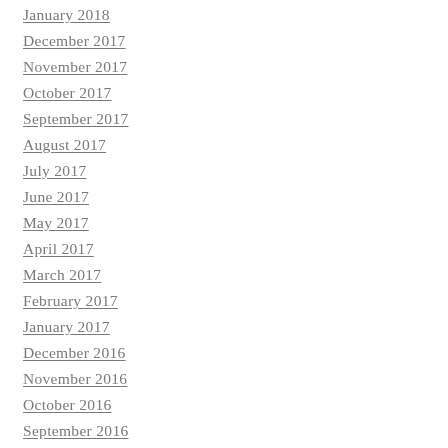January 2018
December 2017
November 2017
October 2017
September 2017
August 2017
July 2017
June 2017
May 2017
April 2017
March 2017
February 2017
January 2017
December 2016
November 2016
October 2016
September 2016
August 2016
July 2016